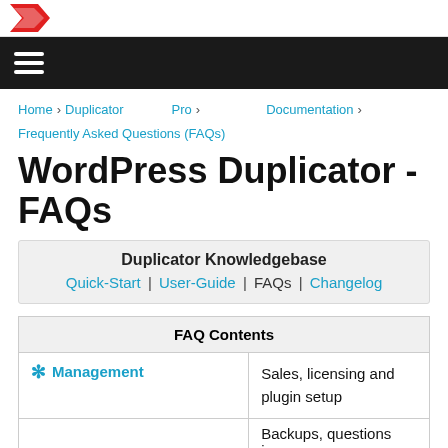[Figure (logo): Red chevron/arrow logo at top left]
[Figure (other): Hamburger menu icon (three horizontal white lines on black bar)]
Home > Duplicator Pro > Documentation > Frequently Asked Questions (FAQs)
WordPress Duplicator - FAQs
Duplicator Knowledgebase | Quick-Start | User-Guide | FAQs | Changelog
| FAQ Contents |
| --- |
| Management | Sales, licensing and plugin setup |
|  | Backups, questions in... |
FAQ Contents